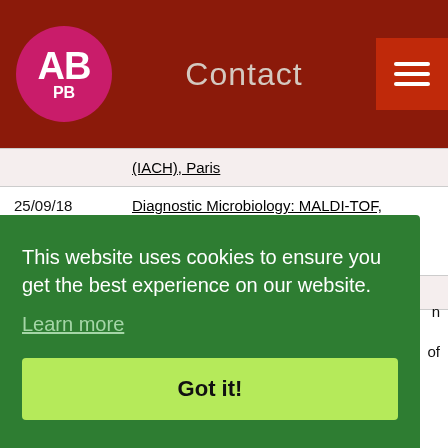Contact
| Date | Event |
| --- | --- |
| (IACH), Paris |  |
| 25/09/18 | Diagnostic Microbiology: MALDI-TOF, Bacterial Genomics, Metagenomics, Automation and Molecular Microbiology, Lauzanne |
| 20/09/18 | CORATA Belgique, Rouan |
This website uses cookies to ensure you get the best experience on our website.
Learn more
Got it!